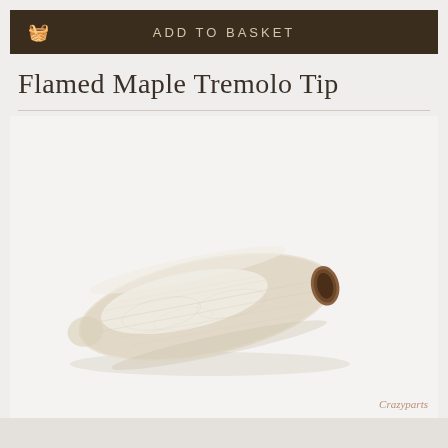ADD TO BASKET
Flamed Maple Tremolo Tip
[Figure (photo): A wooden flamed maple tremolo tip — an elongated, oval-shaped piece of light cream/beige wood with a hollow opening at one end, photographed at a slight angle against a white background. The wood grain shows subtle texture.]
Crazyparts